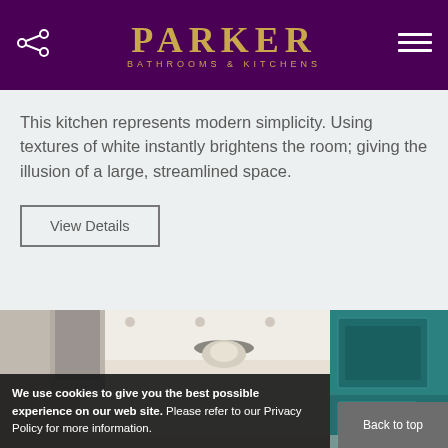PARKER BATHROOMS & KITCHENS
This kitchen represents modern simplicity. Using textures of white instantly brightens the room; giving the illusion of a large, streamlined space.
View Details
[Figure (photo): Kitchen interior showing ceiling light fixture and teal cabinetry]
We use cookies to give you the best possible experience on our web site. Please refer to our Privacy Policy for more information.
Back to top